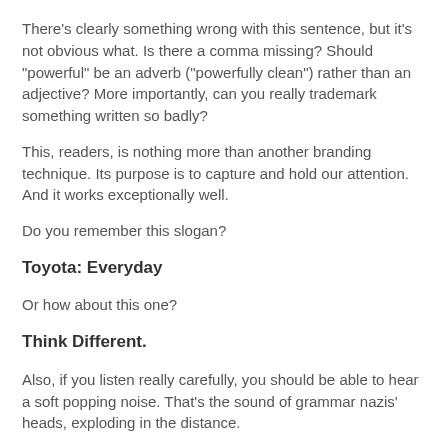There's clearly something wrong with this sentence, but it's not obvious what. Is there a comma missing? Should "powerful" be an adverb ("powerfully clean") rather than an adjective? More importantly, can you really trademark something written so badly?
This, readers, is nothing more than another branding technique. Its purpose is to capture and hold our attention. And it works exceptionally well.
Do you remember this slogan?
Toyota: Everyday
Or how about this one?
Think Different.
Also, if you listen really carefully, you should be able to hear a soft popping noise. That's the sound of grammar nazis' heads, exploding in the distance.